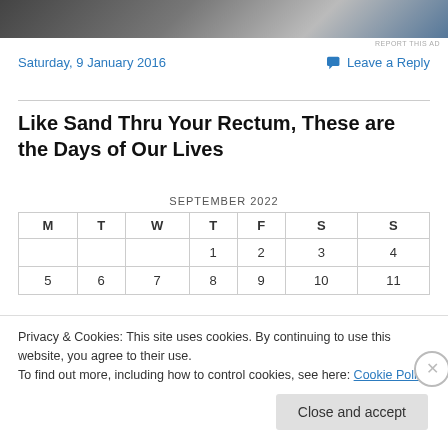[Figure (photo): Top banner image, dark landscape/seascape photo]
REPORT THIS AD
Saturday, 9 January 2016
Leave a Reply
Like Sand Thru Your Rectum, These are the Days of Our Lives
| M | T | W | T | F | S | S |
| --- | --- | --- | --- | --- | --- | --- |
|  |  |  | 1 | 2 | 3 | 4 |
| 5 | 6 | 7 | 8 | 9 | 10 | 11 |
Privacy & Cookies: This site uses cookies. By continuing to use this website, you agree to their use.
To find out more, including how to control cookies, see here: Cookie Policy